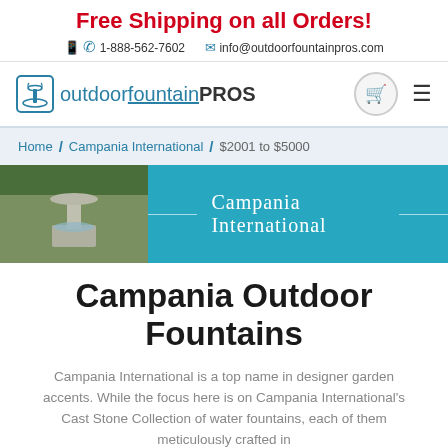Free Shipping on all Orders!
1-888-562-7602   info@outdoorfountainpros.com
[Figure (logo): Outdoor Fountain Pros logo with teal fountain icon and text reading 'outdoor fountain PROS']
Home / Campania International / $2001 to $5000
[Figure (photo): Banner image with a stone outdoor fountain photo on the left and a teal panel reading 'Campania International' on the right]
Campania Outdoor Fountains
Campania International is a top name in designer garden accents. While the focus here is on Campania International's Cast Stone Collection of water fountains, each of them meticulously crafted in